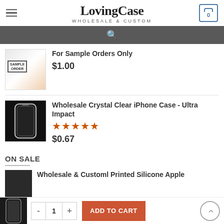LovingCase WHOLESALE & CUSTOM
[Figure (screenshot): Sample order product listing showing 'For Sample Orders Only' at $1.00]
For Sample Orders Only
$1.00
[Figure (photo): Crystal clear iPhone case product image on black background]
Wholesale Crystal Clear iPhone Case - Ultra Impact
$0.67
ON SALE
Wholesale & Customl Printed Silicone Apple
[Figure (screenshot): Add to cart bottom bar with product thumbnail, quantity selector showing 1, Add to Cart button, and scroll-to-top button]